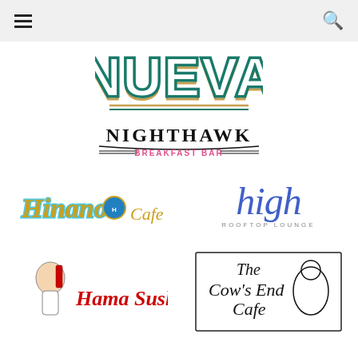Navigation header with menu and search icons
[Figure (logo): NUEVA restaurant logo - large teal/green outlined block letters with gold/yellow shadow, bold retro style]
[Figure (logo): NIGHTHAWK BREAKFAST BAR logo - black serif uppercase letters with pink text 'BREAKFAST BAR' and decorative lines]
[Figure (logo): Hinano Cafe logo - colorful script letters in light blue/gold with a circular emblem]
[Figure (logo): high rooftop lounge logo - italic blue script handwriting style]
[Figure (logo): Hama Sushi logo - cartoon sushi chef illustration with red italic script text]
[Figure (logo): The Cow's End Cafe logo - black and white hand-drawn illustration with cow character]